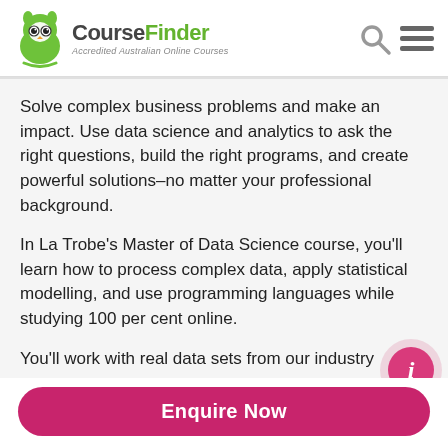CourseFinder – Accredited Australian Online Courses
Solve complex business problems and make an impact. Use data science and analytics to ask the right questions, build the right programs, and create powerful solutions–no matter your professional background.
In La Trobe's Master of Data Science course, you'll learn how to process complex data, apply statistical modelling, and use programming languages while studying 100 per cent online.
You'll work with real data sets from our industry
Enquire Now